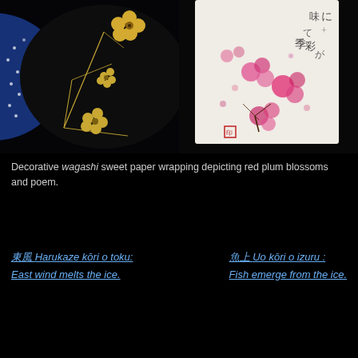[Figure (photo): Two photos side by side: left shows a black lacquer dish with gold plum blossom decoration on dark blue; right shows decorative wagashi sweet paper wrapping with pink/red plum blossoms and Japanese poem calligraphy on white background.]
Decorative wagashi sweet paper wrapping depicting red plum blossoms and poem.
東風 Harukaze kōri o toku: East wind melts the ice.
魚上 Uo kōri o izuru : Fish emerge from the ice.